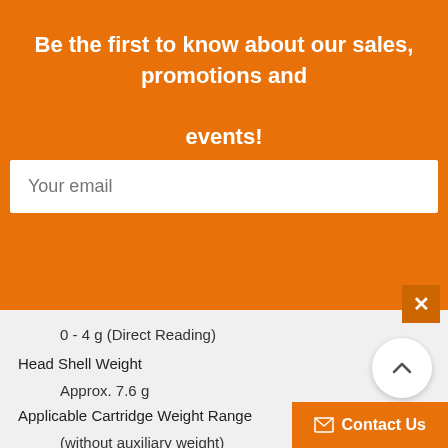Be the first to know about our sales, promotions and events!
Your email
Subscribe
0 - 4 g (Direct Reading)
Head Shell Weight
Approx. 7.6 g
Applicable Cartridge Weight Range
(without auxiliary weight)
5.6 - 12.0 g
Contact Us